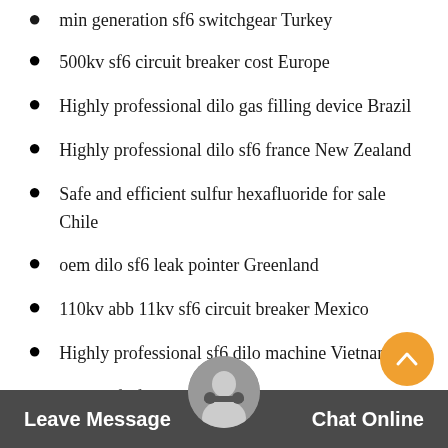min generation sf6 switchgear Turkey
500kv sf6 circuit breaker cost Europe
Highly professional dilo gas filling device Brazil
Highly professional dilo sf6 france New Zealand
Safe and efficient sulfur hexafluoride for sale Chile
oem dilo sf6 leak pointer Greenland
110kv abb 11kv sf6 circuit breaker Mexico
Highly professional sf6 dilo machine Vietnam
750kv sf6 for sale Sweden
develop dilo sf6 service cart Greenland
dilo sf6 dew point Finland
new siemens sf6 circuit breaker Ukraine
Maintenance sulfur hexafluoride for sale Ecuador
66 kv circuit breaker Greenland
Leave Message   Chat Online